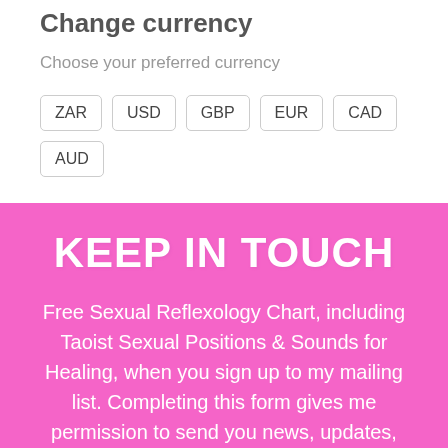Change currency
Choose your preferred currency
ZAR
USD
GBP
EUR
CAD
AUD
KEEP IN TOUCH
Free Sexual Reflexology Chart, including Taoist Sexual Positions & Sounds for Healing, when you sign up to my mailing list. Completing this form gives me permission to send you news, updates, reminders and special deals. I will not share or sell your personal information.